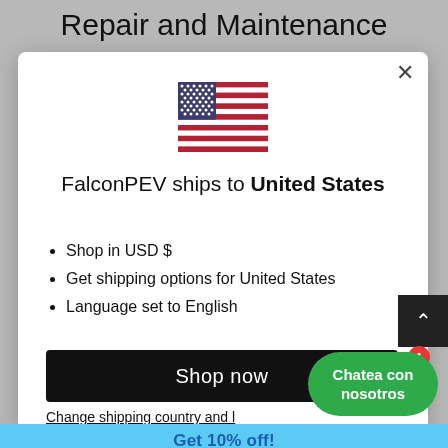Repair and Maintenance
[Figure (screenshot): Modal dialog showing US flag, shipping info for FalconPEV to United States, bullet points about USD, shipping options, English language, a Shop now button, and a Change shipping country link]
FalconPEV ships to United States
Shop in USD $
Get shipping options for United States
Language set to English
Shop now
Change shipping country and l
Chatea con nosotros
Get 10% off!